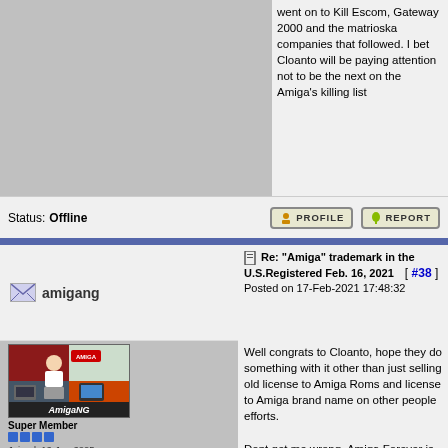went on to Kill Escom, Gateway 2000 and the matrioska companies that followed. I bet Cloanto will be paying attention not to be the next on the Amiga's killing list
Status: Offline
amigang
Re: "Amiga" trademark in the U.S.Registered Feb. 16, 2021 [ #38 ] Posted on 17-Feb-2021 17:48:32
[Figure (photo): AmigaNG forum user avatar showing a person with Amiga computers and equipment collage, with AmigaNG text overlay]
Super Member
Joined: 12-Jan-2005
Posts: 1857
From: Cheshire, England
Well congrats to Cloanto, hope they do something with it other than just selling old license to Amiga Roms and license to Amiga brand name on other people efforts.

Dont get me wrong, Amiga Forever is a great all in one package, but I feel they could of done more with it over the years, specially when I see things like Amikit...